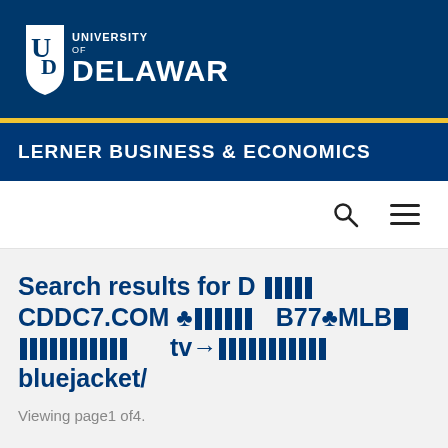University of Delaware – Lerner Business & Economics
Search results for D [barcode] CDDC7.COM ♣[barcode] B77♣MLB[barcode] [barcode]tv→[barcode] bluejacket/
Viewing page1 of4.